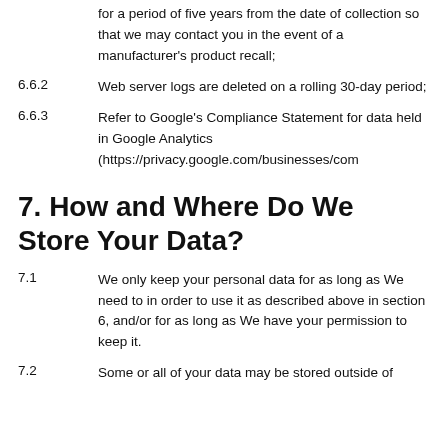for a period of five years from the date of collection so that we may contact you in the event of a manufacturer's product recall;
6.6.2	Web server logs are deleted on a rolling 30-day period;
6.6.3	Refer to Google's Compliance Statement for data held in Google Analytics (https://privacy.google.com/businesses/com
7. How and Where Do We Store Your Data?
7.1	We only keep your personal data for as long as We need to in order to use it as described above in section 6, and/or for as long as We have your permission to keep it.
7.2	Some or all of your data may be stored outside of